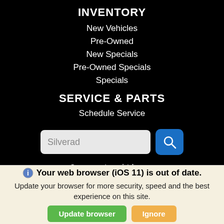INVENTORY
New Vehicles
Pre-Owned
New Specials
Pre-Owned Specials
Specials
SERVICE & PARTS
Schedule Service
[Figure (screenshot): Search input field with text 'Silverad' and a blue search button with magnifying glass icon]
Connect with us
[Figure (infographic): Facebook and Instagram social media icons (white icons on black background)]
Websites Powered By
Your web browser (iOS 11) is out of date. Update your browser for more security, speed and the best experience on this site.
[Figure (screenshot): Two buttons: green 'Update browser' and orange 'Ignore']